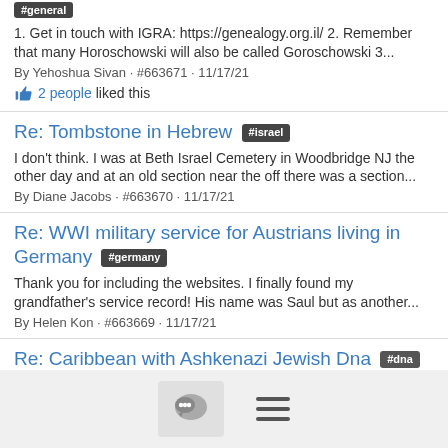#general
1. Get in touch with IGRA: https://genealogy.org.il/ 2. Remember that many Horoschowski will also be called Goroschowski 3...
By Yehoshua Sivan · #663671 · 11/17/21
2 people liked this
Re: Tombstone in Hebrew #israel
I don't think. I was at Beth Israel Cemetery in Woodbridge NJ the other day and at an old section near the off there was a section...
By Diane Jacobs · #663670 · 11/17/21
Re: WWI military service for Austrians living in Germany #germany
Thank you for including the websites. I finally found my grandfather's service record! His name was Saul but as another...
By Helen Kon · #663669 · 11/17/21
Re: Caribbean with Ashkenazi Jewish Dna #dna
You might find interesting the book "Jews, Slaves, and the Slave Trade" by Eli Faber (New York University Press), details the...